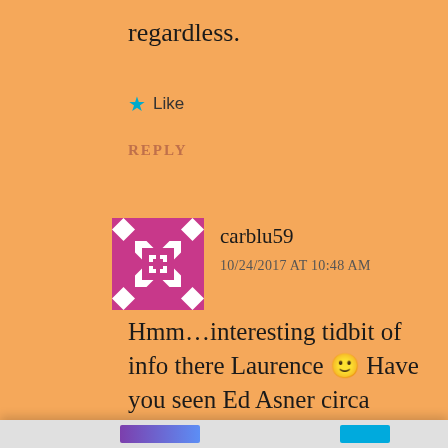regardless.
★ Like
REPLY
[Figure (illustration): Quilt-pattern avatar icon in magenta/pink and white colors]
carblu59
10/24/2017 AT 10:48 AM
Hmm…interesting tidbit of info there Laurence 🙂 Have you seen Ed Asner circa 1960-62? You
Privacy & Cookies: This site uses cookies. By continuing to use this website, you agree to their use.
To find out more, including how to control cookies, see here: Cookie Policy
Close and accept